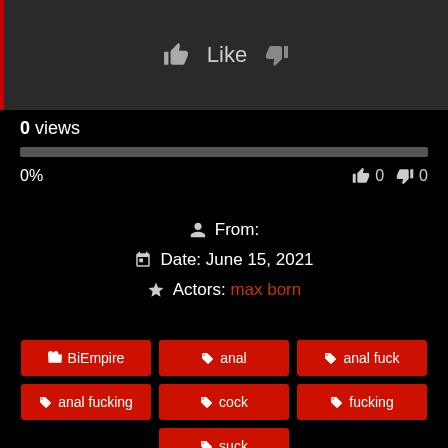[Figure (screenshot): Like and dislike button bar with thumbs up icon and Like text, thumbs down icon]
0 views
0%
0  0
From:
Date: June 15, 2021
Actors: max born
BiEmpire
anal
anal fuck
anal fucking
cock
fucking
suck